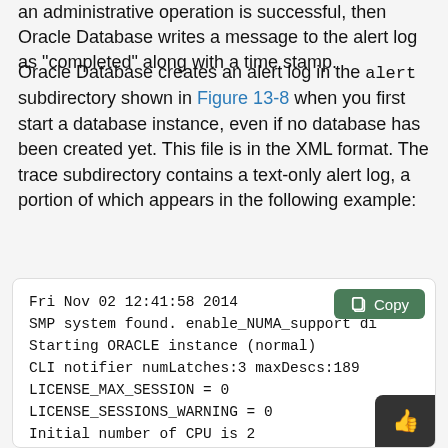an administrative operation is successful, then Oracle Database writes a message to the alert log as "completed" along with a time stamp.
Oracle Database creates an alert log in the alert subdirectory shown in Figure 13-8 when you first start a database instance, even if no database has been created yet. This file is in the XML format. The trace subdirectory contains a text-only alert log, a portion of which appears in the following example:
Fri Nov 02 12:41:58 2014
SMP system found. enable_NUMA_support di
Starting ORACLE instance (normal)
CLI notifier numLatches:3 maxDescs:189
LICENSE_MAX_SESSION = 0
LICENSE_SESSIONS_WARNING = 0
Initial number of CPU is 2
Number of processor cores in the syst
Number of processor sockets in the syste